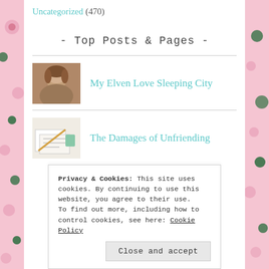Uncategorized (470)
- Top Posts & Pages -
[Figure (photo): Thumbnail portrait photo of a person with brown hair]
My Elven Love Sleeping City
[Figure (photo): Thumbnail image of papers/documents on a desk]
The Damages of Unfriending
Privacy & Cookies: This site uses cookies. By continuing to use this website, you agree to their use. To find out more, including how to control cookies, see here: Cookie Policy